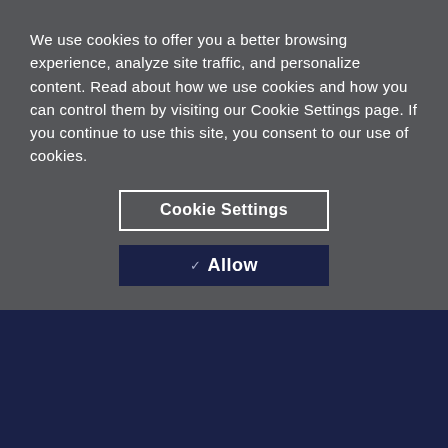We use cookies to offer you a better browsing experience, analyze site traffic, and personalize content. Read about how we use cookies and how you can control them by visiting our Cookie Settings page. If you continue to use this site, you consent to our use of cookies.
Cookie Settings
✓ Allow
[Figure (illustration): Green background illustration with a beige circle and a dark podium/lectern shape at the bottom center]